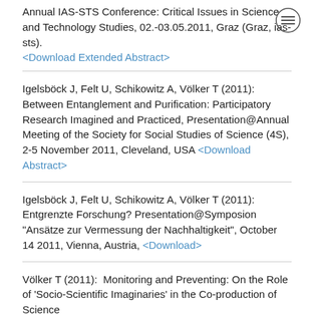Annual IAS-STS Conference: Critical Issues in Science and Technology Studies, 02.-03.05.2011, Graz (Graz, ias-sts). <Download Extended Abstract>
Igelsböck J, Felt U, Schikowitz A, Völker T (2011): Between Entanglement and Purification: Participatory Research Imagined and Practiced, Presentation@Annual Meeting of the Society for Social Studies of Science (4S), 2-5 November 2011, Cleveland, USA <Download Abstract>
Igelsböck J, Felt U, Schikowitz A, Völker T (2011): Entgrenzte Forschung? Presentation@Symposion "Ansätze zur Vermessung der Nachhaltigkeit", October 14 2011, Vienna, Austria, <Download>
Völker T (2011): Monitoring and Preventing: On the Role of 'Socio-Scientific Imaginaries' in the Co-production of Science